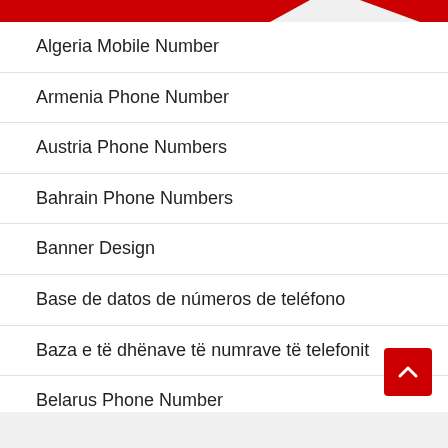Algeria Mobile Number
Armenia Phone Number
Austria Phone Numbers
Bahrain Phone Numbers
Banner Design
Base de datos de números de teléfono
Baza e të dhënave të numrave të telefonit
Belarus Phone Number